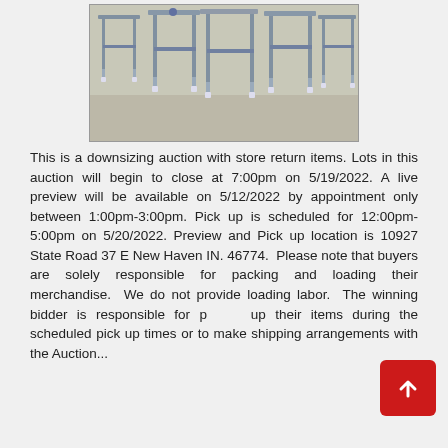[Figure (photo): Photo of several metal bar stools with white feet arranged on a concrete floor]
This is a downsizing auction with store return items. Lots in this auction will begin to close at 7:00pm on 5/19/2022. A live preview will be available on 5/12/2022 by appointment only between 1:00pm-3:00pm. Pick up is scheduled for 12:00pm-5:00pm on 5/20/2022. Preview and Pick up location is 10927 State Road 37 E New Haven IN. 46774.  Please note that buyers are solely responsible for packing and loading their merchandise.  We do not provide loading labor.  The winning bidder is responsible for picking up their items during the scheduled pick up times or to make shipping arrangements with the Auction...